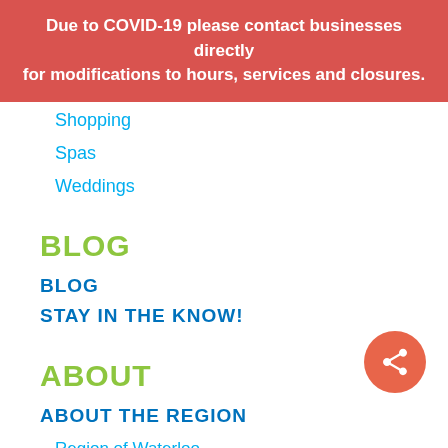Due to COVID-19 please contact businesses directly for modifications to hours, services and closures.
Shopping
Spas
Weddings
BLOG
BLOG
STAY IN THE KNOW!
ABOUT
ABOUT THE REGION
Region of Waterloo
City of Cambridge
City of Kitchener